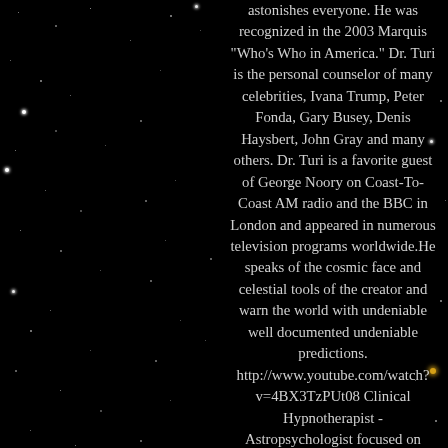astonishes everyone. He was recognized in the 2003 Marquis "Who's Who in America." Dr. Turi is the personal counselor of many celebrities, Ivana Trump, Peter Fonda, Gary Busey, Denis Haysbert, John Gray and many others. Dr. Turi is a favorite guest of George Noory on Coast-To-Coast AM radio and the BBC in London and appeared in numerous television programs worldwide.He speaks of the cosmic face and celestial tools of the creator and warn the world with undeniable well documented undeniable predictions. http://www.youtube.com/watch?v=4BX3TzPUt08 Clinical Hypnotherapist - Astropsychologist focused on providing individual and couples counseling services. Specializing in public speaking, teaching, metaphysics, natural healing, stress management, women issues and family mediation services. Interested in speaking engagements, radio, television, events and media outlets, academic work, advising corporations, the police force, colleges, universities and general public on mental health issues and spirituality.